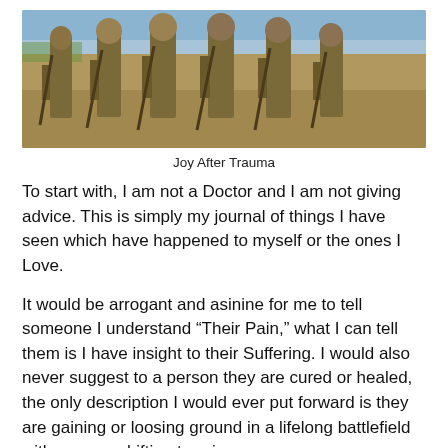[Figure (photo): Six soldiers in desert camouflage uniforms and combat gear walking together in a field with a blue sky background]
Joy After Trauma
To start with, I am not a Doctor and I am not giving advice. This is simply my journal of things I have seen which have happened to myself or the ones I Love.
It would be arrogant and asinine for me to tell someone I understand “Their Pain,” what I can tell them is I have insight to their Suffering. I would also never suggest to a person they are cured or healed, the only description I would ever put forward is they are gaining or loosing ground in a lifelong battlefield with an ever shifting terrain.